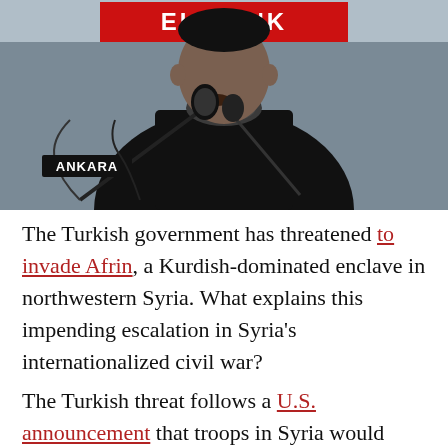[Figure (photo): A man in a dark coat speaking into a microphone. A nameplate reading 'ANKARA' is visible on the microphone stand. A red banner with text 'ELEKINK' (partially visible) appears at the top of the image.]
The Turkish government has threatened to invade Afrin, a Kurdish-dominated enclave in northwestern Syria. What explains this impending escalation in Syria's internationalized civil war?
The Turkish threat follows a U.S. announcement that troops in Syria would